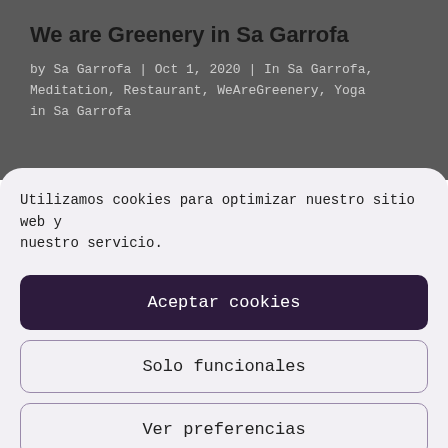We are Greenery in Sa Garrofa
by Sa Garrofa | Oct 1, 2020 | In Sa Garrofa, Meditation, Restaurant, WeAreGreenery, Yoga in Sa Garrofa
Utilizamos cookies para optimizar nuestro sitio web y nuestro servicio.
Aceptar cookies
Solo funcionales
Ver preferencias
-Política de Cookies  -Política de Privacidad